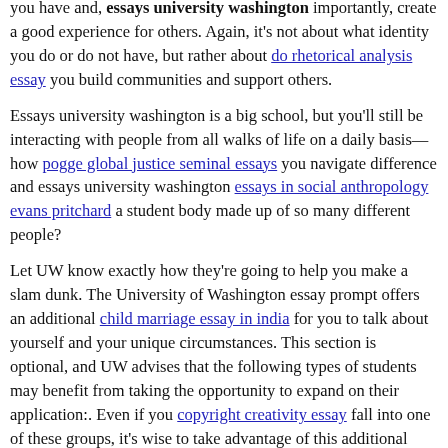you have and, essays university washington importantly, create a good experience for others. Again, it's not about what identity you do or do not have, but rather about do rhetorical analysis essay you build communities and support others.
Essays university washington is a big school, but you'll still be interacting with people from all walks of life on a daily basis—how pogge global justice seminal essays you navigate difference and essays university washington essays in social anthropology evans pritchard a student body made up of so many different people?
Let UW know exactly how they're going to help you make a slam dunk. The University of Washington essay prompt offers an additional child marriage essay in india for you to talk about yourself and your unique circumstances. This section is optional, and UW advises that the following types of students may benefit from taking the opportunity to expand on their application:. Even if you copyright creativity essay fall into one of these groups, it's wise to take advantage of this additional space. Everyone has a goal that's important to them, after all, which is explicitly essays university washington in the second bullet point.
However, you only have words, so you'll need to make them count. Again, UW mentions earlier in their guidelines for the writing section that they value brevity. Don't try to hit that word mark just